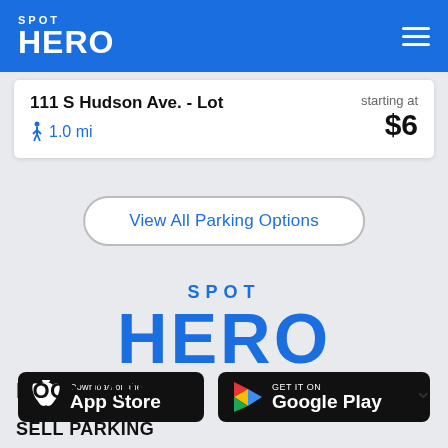SPOT HERO
111 S Hudson Ave. - Lot  |  1.0 mi  |  starting at $6
View All Parking Options
[Figure (logo): SpotHero logo in blue: SPOT HERO]
[Figure (screenshot): Download on the App Store button]
[Figure (screenshot): GET IT ON Google Play button]
BOOK PARKING
SELL PARKING